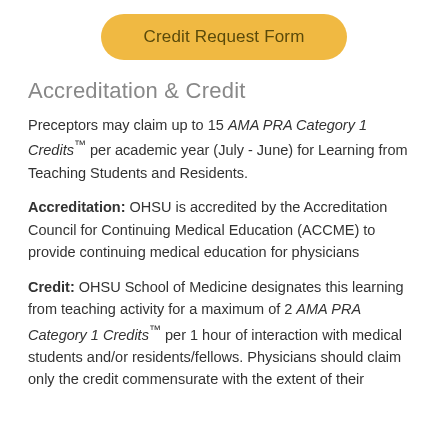[Figure (other): Yellow rounded button labeled 'Credit Request Form']
Accreditation & Credit
Preceptors may claim up to 15 AMA PRA Category 1 Credits™ per academic year (July - June) for Learning from Teaching Students and Residents.
Accreditation: OHSU is accredited by the Accreditation Council for Continuing Medical Education (ACCME) to provide continuing medical education for physicians
Credit: OHSU School of Medicine designates this learning from teaching activity for a maximum of 2 AMA PRA Category 1 Credits™ per 1 hour of interaction with medical students and/or residents/fellows. Physicians should claim only the credit commensurate with the extent of their